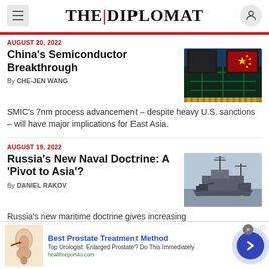THE|DIPLOMAT
AUGUST 20, 2022
China's Semiconductor Breakthrough
By CHE-JEN WANG
[Figure (photo): Semiconductor chip with Chinese flag overlay on circuit board]
SMIC's 7nm process advancement – despite heavy U.S. sanctions – will have major implications for East Asia.
AUGUST 19, 2022
Russia's New Naval Doctrine: A 'Pivot to Asia'?
By DANIEL RAKOV
[Figure (photo): Russian naval warship destroyer at sea]
Russia's new maritime doctrine gives increasing
[Figure (infographic): Advertisement: Best Prostate Treatment Method - Top Urologist: Enlarged Prostate? Do This Immediately - healthreport4u.com]